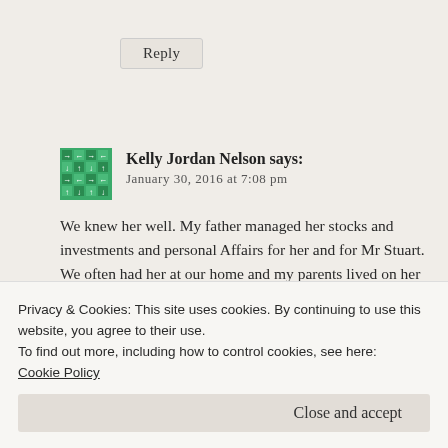Reply
Kelly Jordan Nelson says:
January 30, 2016 at 7:08 pm
We knew her well. My father managed her stocks and investments and personal Affairs for her and for Mr Stuart. We often had her at our home and my parents lived on her estate while building their own home. We don't need to
Privacy & Cookies: This site uses cookies. By continuing to use this website, you agree to their use.
To find out more, including how to control cookies, see here: Cookie Policy
Close and accept